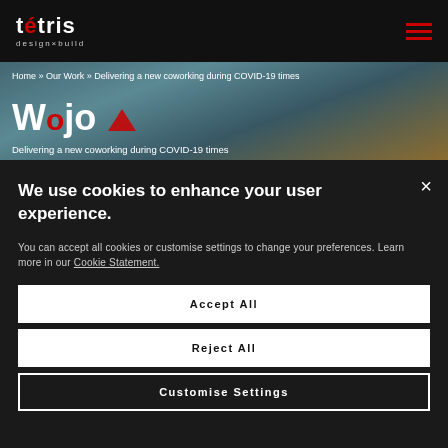tétris design×build
[Figure (photo): Interior photo of a modern coworking space with ceiling details visible, overlaid with Wojo branding logo and breadcrumb navigation]
Home » Our Work » Delivering a new coworking during COVID-19 times
Wojo
Delivering a new coworking during COVID-19 times
We use cookies to enhance your user experience.
You can accept all cookies or customise settings to change your preferences. Learn more in our Cookie Statement.
Accept All
Reject All
Customise Settings